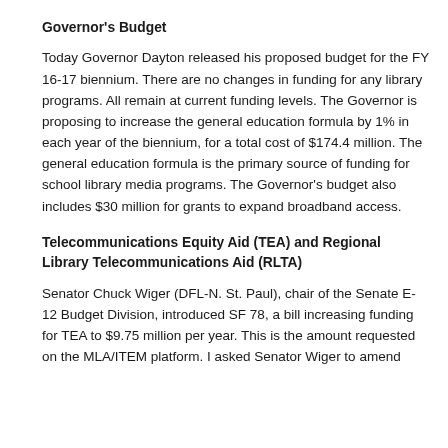Governor's Budget
Today Governor Dayton released his proposed budget for the FY 16-17 biennium. There are no changes in funding for any library programs. All remain at current funding levels. The Governor is proposing to increase the general education formula by 1% in each year of the biennium, for a total cost of $174.4 million. The general education formula is the primary source of funding for school library media programs. The Governor's budget also includes $30 million for grants to expand broadband access.
Telecommunications Equity Aid (TEA) and Regional Library Telecommunications Aid (RLTA)
Senator Chuck Wiger (DFL-N. St. Paul), chair of the Senate E-12 Budget Division, introduced SF 78, a bill increasing funding for TEA to $9.75 million per year. This is the amount requested on the MLA/ITEM platform. I asked Senator Wiger to amend